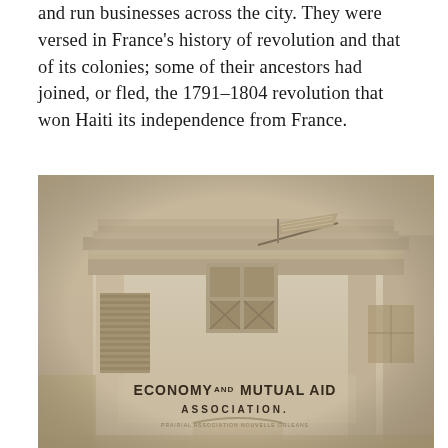and run businesses across the city. They were versed in France's history of revolution and that of its colonies; some of their ancestors had joined, or fled, the 1791–1804 revolution that won Haiti its independence from France.
[Figure (photo): Sepia-toned historic photograph of the Economy and Mutual Aid Association building facade, a white wooden structure with classical pediment, American flag, and signage reading 'ECONOMY AND MUTUAL AID ASSOCIATION.']